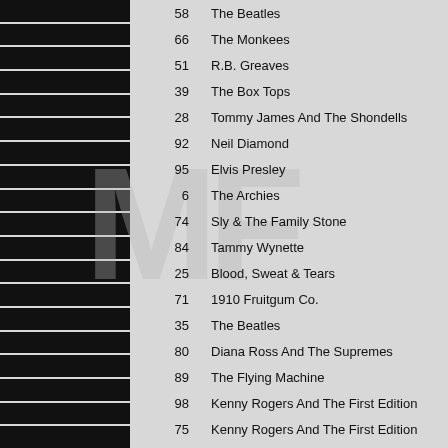[Figure (other): Left column of horizontal black bars stacked vertically]
| # | Artist |
| --- | --- |
| 58 | The Beatles |
| 66 | The Monkees |
| 51 | R.B. Greaves |
| 39 | The Box Tops |
| 28 | Tommy James And The Shondells |
| 92 | Neil Diamond |
| 95 | Elvis Presley |
| 6 | The Archies |
| 74 | Sly & The Family Stone |
| 84 | Tammy Wynette |
| 25 | Blood, Sweat & Tears |
| 71 | 1910 Fruitgum Co. |
| 35 | The Beatles |
| 80 | Diana Ross And The Supremes |
| 89 | The Flying Machine |
| 98 | Kenny Rogers And The First Edition |
| 75 | Kenny Rogers And The First Edition |
| 91 | Johnny Adams |
| 89 | The Charters Band / Gary Crowder |